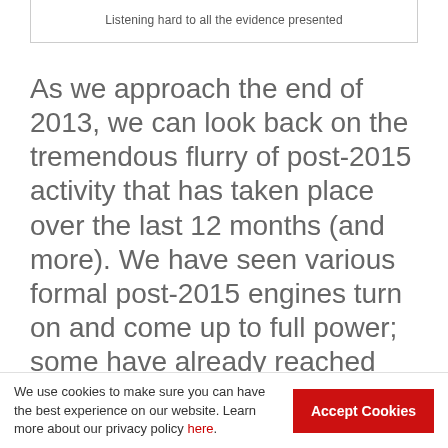Listening hard to all the evidence presented
As we approach the end of 2013, we can look back on the tremendous flurry of post-2015 activity that has taken place over the last 12 months (and more). We have seen various formal post-2015 engines turn on and come up to full power; some have already reached their destinations, others still have more distance to travel. We have seen civil society and lobby groups edging around these formal processes and trying to influence the direction they have been heading in.
We use cookies to make sure you can have the best experience on our website. Learn more about our privacy policy here. [Accept Cookies button]